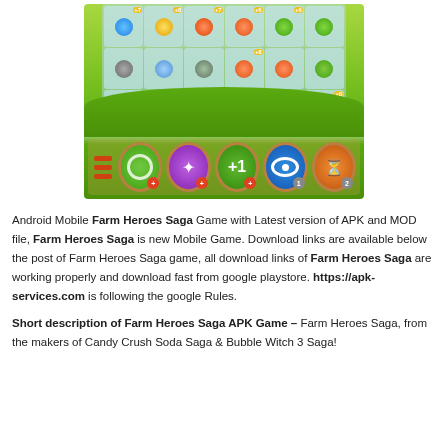[Figure (screenshot): Screenshot of Farm Heroes Saga mobile game showing a match-3 grid with fruit/vegetable characters (strawberries, peas, carrots, onions) with point values (+7, +8, +6, etc.), and a row of power-up icons at the bottom on a green background.]
Android Mobile Farm Heroes Saga Game with Latest version of APK and MOD file, Farm Heroes Saga is new Mobile Game. Download links are available below the post of Farm Heroes Saga game, all download links of Farm Heroes Saga are working properly and download fast from google playstore. https://apk-services.com is following the google Rules.
Short description of Farm Heroes Saga APK Game – Farm Heroes Saga, from the makers of Candy Crush Soda Saga & Bubble Witch 3 Saga!